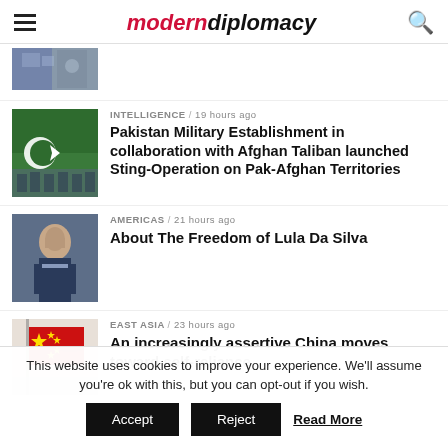modern diplomacy
[Figure (photo): Partial thumbnail image at top, partially cropped]
INTELLIGENCE / 19 hours ago
Pakistan Military Establishment in collaboration with Afghan Taliban launched Sting-Operation on Pak-Afghan Territories
[Figure (photo): Pakistani military soldiers with green flag]
AMERICAS / 21 hours ago
About The Freedom of Lula Da Silva
[Figure (photo): Man in suit speaking at podium]
EAST ASIA / 23 hours ago
An increasingly assertive China moves toward self-reliance
[Figure (photo): Chinese flag waving]
This website uses cookies to improve your experience. We'll assume you're ok with this, but you can opt-out if you wish.
Accept   Reject   Read More